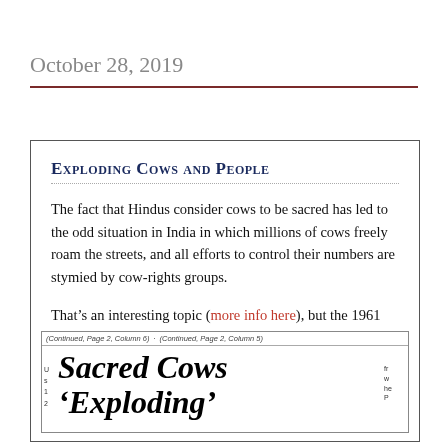October 28, 2019
Exploding Cows and People
The fact that Hindus consider cows to be sacred has led to the odd situation in India in which millions of cows freely roam the streets, and all efforts to control their numbers are stymied by cow-rights groups.
That’s an interesting topic (more info here), but the 1961 headline below implies an entirely different, and somewhat messier kind of problem.
[Figure (screenshot): Newspaper clipping showing columns header text '(Continued, Page 2, Column 6) · (Continued, Page 2, Column 5)' and headline 'Sacred Cows ‘Exploding’' in bold italic serif font, with side column text fragments.]